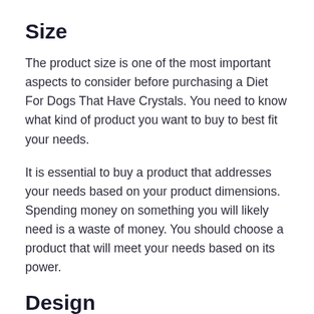Size
The product size is one of the most important aspects to consider before purchasing a Diet For Dogs That Have Crystals. You need to know what kind of product you want to buy to best fit your needs.
It is essential to buy a product that addresses your needs based on your product dimensions. Spending money on something you will likely need is a waste of money. You should choose a product that will meet your needs based on its power.
Design